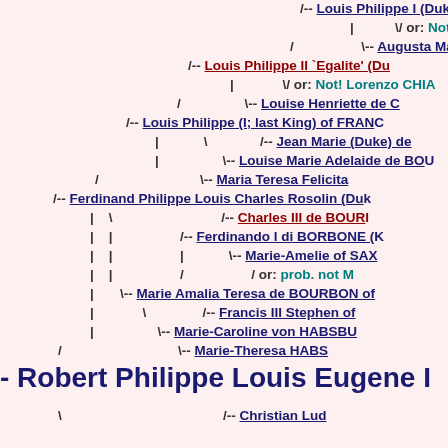[Figure (other): Genealogical tree showing ancestors of Robert Philippe Louis Eugene, including Louis Philippe I, Louis Philippe II Egalite, Louis Philippe (I; last King) of FRANCE, Ferdinand Philippe Louis Charles Rosolin (Duke), Marie Amalia Teresa de BOURBON, and Robert Philippe Louis Eugene at bottom, with connecting lines and symbols for alternate parents.]